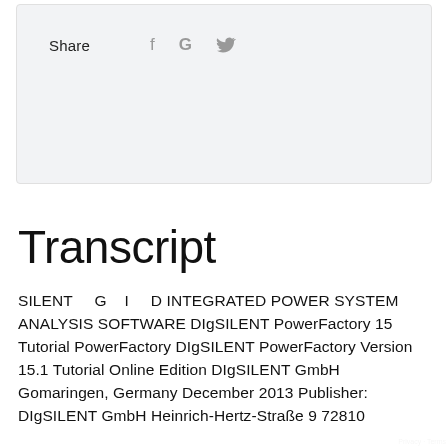[Figure (infographic): Share bar with social media icons (f, G, bird/Twitter) on a light grey background panel]
Transcript
SILENT G I D INTEGRATED POWER SYSTEM ANALYSIS SOFTWARE DIgSILENT PowerFactory 15 Tutorial PowerFactory DIgSILENT PowerFactory Version 15.1 Tutorial Online Edition DIgSILENT GmbH Gomaringen, Germany December 2013 Publisher: DIgSILENT GmbH Heinrich-Hertz-Straße 9 72810